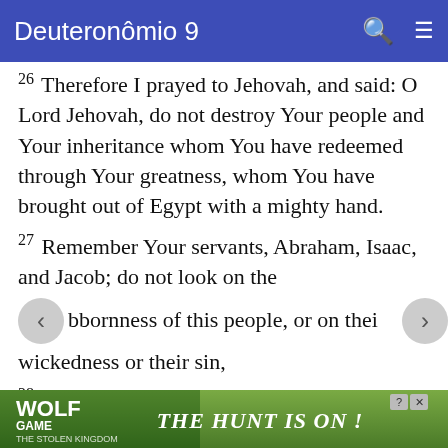Deuteronômio 9
26 Therefore I prayed to Jehovah, and said: O Lord Jehovah, do not destroy Your people and Your inheritance whom You have redeemed through Your greatness, whom You have brought out of Egypt with a mighty hand.
27 Remember Your servants, Abraham, Isaac, and Jacob; do not look on the stubbornness of this people, or on their wickedness or their sin,
28 lest the land from which You have
[Figure (screenshot): Advertisement banner for Wolf Game - The Hunt Is On!]